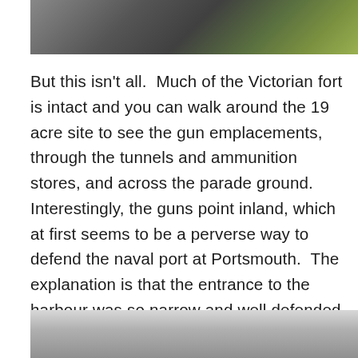[Figure (photo): Top portion of a photograph showing a path/road surface on the left and green grass with yellow flowers on the right]
But this isn't all.  Much of the Victorian fort is intact and you can walk around the 19 acre site to see the gun emplacements, through the tunnels and ammunition stores, and across the parade ground.  Interestingly, the guns point inland, which at first seems to be a perverse way to defend the naval port at Portsmouth.  The explanation is that the entrance to the harbour was so narrow and well defended it was believed that any invasion would land further along the coast and attack from behind, hence the gun direction.
[Figure (photo): Bottom portion of a photograph showing a grey/overcast sky or metallic surface]